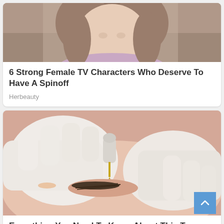[Figure (photo): Woman with brown hair wearing a pink/lavender top, photo cropped showing face and upper body]
6 Strong Female TV Characters Who Deserve To Have A Spinoff
Herbeauty
[Figure (photo): Close-up of gloved hands performing an eyebrow tattooing or microblading procedure on a person's eyebrow area, with a needle tool visible]
Everything You Need To Know About This Two-Hour Procedure
Herbeauty